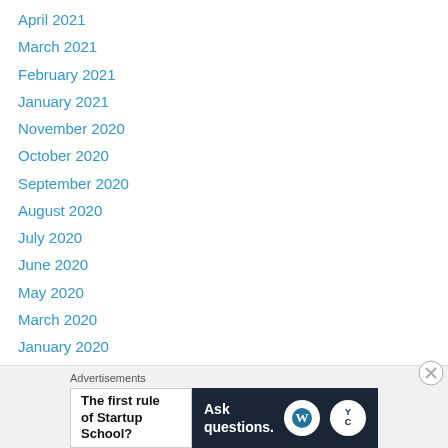April 2021
March 2021
February 2021
January 2021
November 2020
October 2020
September 2020
August 2020
July 2020
June 2020
May 2020
March 2020
January 2020
December 2019
November 2019
October 2019
Advertisements
[Figure (other): Advertisement banner: left side white background with bold text 'The first rule of Startup School?'; right side dark navy background with 'Ask questions.' text and WordPress and YC logos]